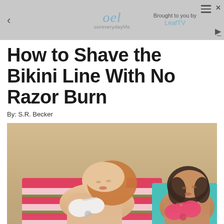oel oureverydaylife — Brought to you by LeafTV
How to Shave the Bikini Line With No Razor Burn
By: S.R. Becker
[Figure (photo): Two young women in bikinis lying on colorful beach towels on sand, sunbathing with eyes closed. One has a white bikini on a pink striped towel, the other has a pink/coral bikini on a teal towel.]